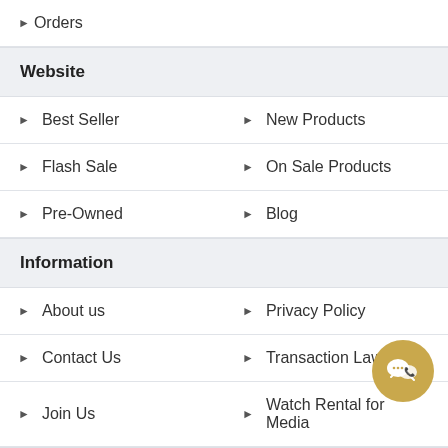Orders
Website
Best Seller
New Products
Flash Sale
On Sale Products
Pre-Owned
Blog
Information
About us
Privacy Policy
Contact Us
Transaction Law
Join Us
Watch Rental for Media
Shopping Guide